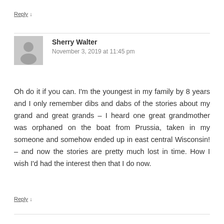Reply ↓
Sherry Walter
November 3, 2019 at 11:45 pm
Oh do it if you can. I'm the youngest in my family by 8 years and I only remember dibs and dabs of the stories about my grand and great grands – I heard one great grandmother was orphaned on the boat from Prussia, taken in my someone and somehow ended up in east central Wisconsin! – and now the stories are pretty much lost in time. How I wish I'd had the interest then that I do now.
Reply ↓